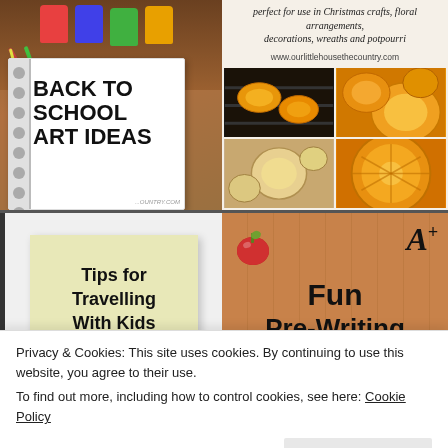[Figure (illustration): Top-left: Art supplies and notebook with text BACK TO SCHOOL ART IDEAS]
[Figure (photo): Top-right: Text saying perfect for use in Christmas crafts, floral arrangements, decorations, wreaths and potpourri with www.ourlittlehousethecountry.com and grid of 4 citrus/orange photos]
[Figure (illustration): Mid-left: Sticky note with text Tips for Travelling With Kids]
[Figure (illustration): Mid-right: Wood background with apple icon, A+ grade, Fun Pre-Writing text]
Privacy & Cookies: This site uses cookies. By continuing to use this website, you agree to their use.
To find out more, including how to control cookies, see here: Cookie Policy
Close and accept